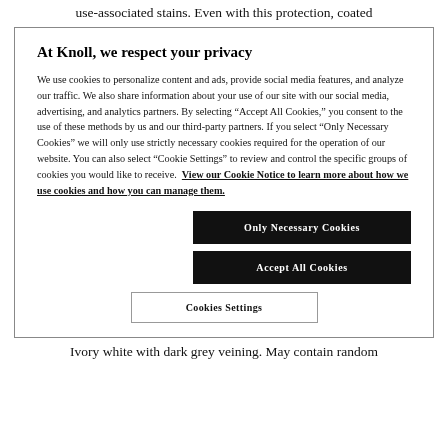use-associated stains. Even with this protection, coated
At Knoll, we respect your privacy
We use cookies to personalize content and ads, provide social media features, and analyze our traffic. We also share information about your use of our site with our social media, advertising, and analytics partners. By selecting “Accept All Cookies,” you consent to the use of these methods by us and our third-party partners. If you select "Only Necessary Cookies" we will only use strictly necessary cookies required for the operation of our website. You can also select "Cookie Settings" to review and control the specific groups of cookies you would like to receive. View our Cookie Notice to learn more about how we use cookies and how you can manage them.
Only Necessary Cookies
Accept All Cookies
Cookies Settings
Ivory white with dark grey veining. May contain random